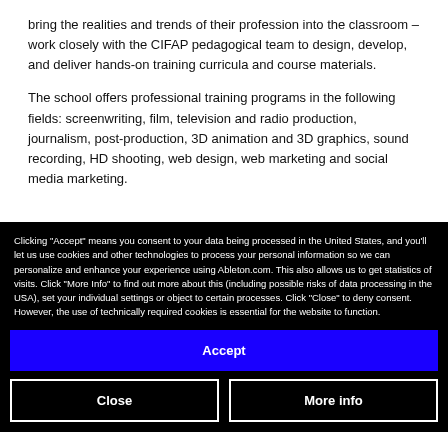bring the realities and trends of their profession into the classroom – work closely with the CIFAP pedagogical team to design, develop, and deliver hands-on training curricula and course materials.
The school offers professional training programs in the following fields: screenwriting, film, television and radio production, journalism, post-production, 3D animation and 3D graphics, sound recording, HD shooting, web design, web marketing and social media marketing.
Clicking "Accept" means you consent to your data being processed in the United States, and you'll let us use cookies and other technologies to process your personal information so we can personalize and enhance your experience using Ableton.com. This also allows us to get statistics of visits. Click "More Info" to find out more about this (including possible risks of data processing in the USA), set your individual settings or object to certain processes. Click "Close" to deny consent. However, the use of technically required cookies is essential for the website to function.
Accept
Close
More info